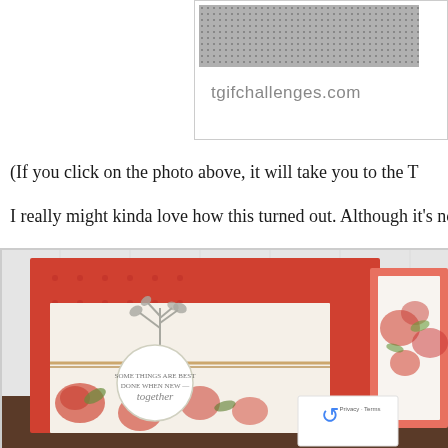[Figure (photo): Partial view of a website image with gray dotted texture and tgifchallenges.com URL, bordered box on white background]
(If you click on the photo above, it will take you to the T
I really might kinda love how this turned out. Although it's not
[Figure (photo): Handmade greeting cards on a wooden surface. Main card has coral/red polka dot paper with a silver twig die-cut and a circular tag reading 'together', decorated with twine and rose-stamped paper. A second card partially visible on the right features watercolor roses in coral and green. A CAPTCHA/reCAPTCHA overlay visible in bottom right corner with Privacy and Terms links.]